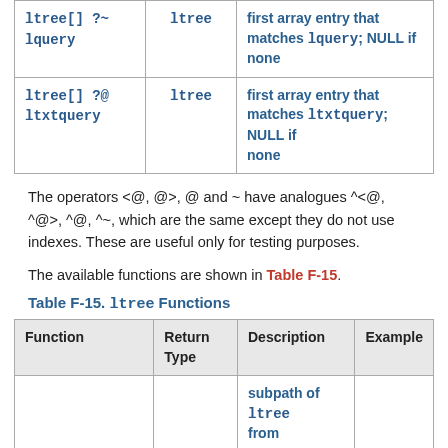| Function | Return Type | Description |
| --- | --- | --- |
| ltree[] ?~ lquery | ltree | first array entry that matches lquery; NULL if none |
| ltree[] ?@ ltxtquery | ltree | first array entry that matches ltxtquery; NULL if none |
The operators <@, @>, @ and ~ have analogues ^<@, ^@>, ^@, ^~, which are the same except they do not use indexes. These are useful only for testing purposes.
The available functions are shown in Table F-15.
Table F-15. ltree Functions
| Function | Return Type | Description | Example |
| --- | --- | --- | --- |
|  |  | subpath of ltree from |  |